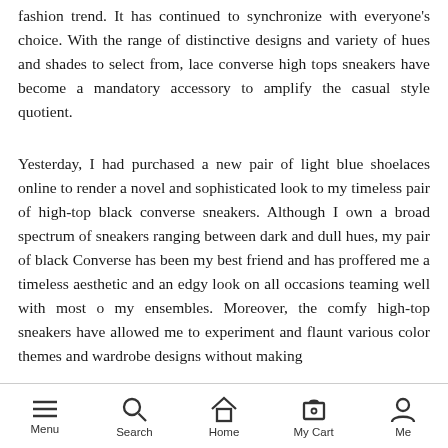fashion trend. It has continued to synchronize with everyone's choice. With the range of distinctive designs and variety of hues and shades to select from, lace converse high tops sneakers have become a mandatory accessory to amplify the casual style quotient.
Yesterday, I had purchased a new pair of light blue shoelaces online to render a novel and sophisticated look to my timeless pair of high-top black converse sneakers. Although I own a broad spectrum of sneakers ranging between dark and dull hues, my pair of black Converse has been my best friend and has proffered me a timeless aesthetic and an edgy look on all occasions teaming well with most o my ensembles. Moreover, the comfy high-top sneakers have allowed me to experiment and flaunt various color themes and wardrobe designs without making
Menu | Search | Home | My Cart | Me